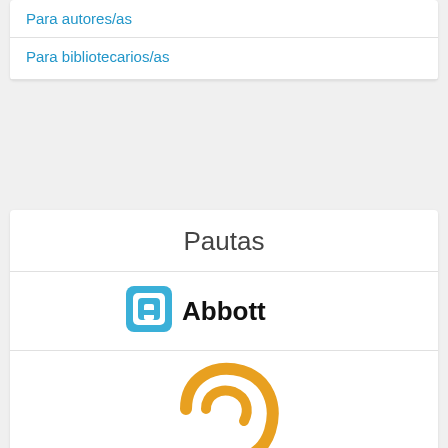Para autores/as
Para bibliotecarios/as
Pautas
[Figure (logo): Abbott logo: blue rounded square icon with stylized 'a' shape, followed by bold text 'Abbott']
[Figure (logo): Cochlear logo: golden/amber double-C spiral cochlea icon above text 'Cochlear' with registered trademark, tagline 'Hear now. And always']